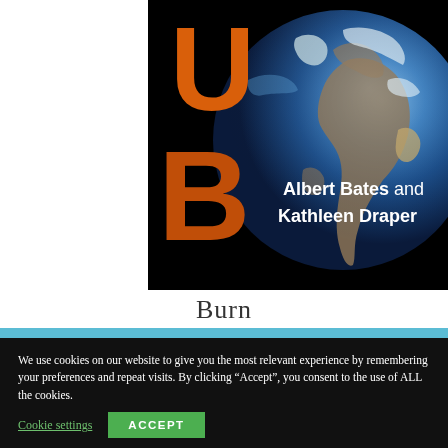[Figure (illustration): Book cover for 'Burn' by Albert Bates and Kathleen Draper. Black background with large orange letter 'U' at top and large orange letter 'B' below-left, with a photorealistic image of Earth globe in the background (blue oceans, white clouds, brown landmasses). White bold text reads 'Albert Bates and Kathleen Draper' on the right side of the cover.]
Burn
We use cookies on our website to give you the most relevant experience by remembering your preferences and repeat visits. By clicking “Accept”, you consent to the use of ALL the cookies.
Cookie settings  ACCEPT